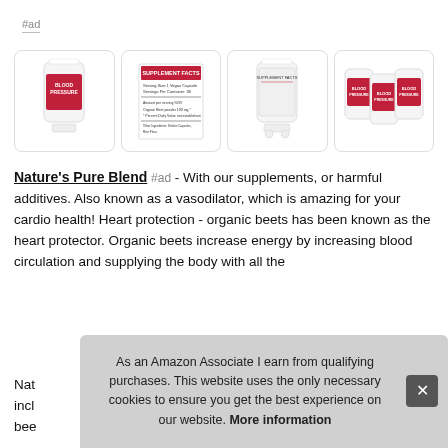#ad
[Figure (photo): Four product images of a blood pressure supplement bottle: front view, supplement facts label, back view, and group of three bottles]
Nature's Pure Blend #ad - With our supplements, or harmful additives. Also known as a vasodilator, which is amazing for your cardio health! Heart protection - organic beets has been known as the heart protector. Organic beets increase energy by increasing blood circulation and supplying the body with all the
Nat incl bee
As an Amazon Associate I earn from qualifying purchases. This website uses the only necessary cookies to ensure you get the best experience on our website. More information